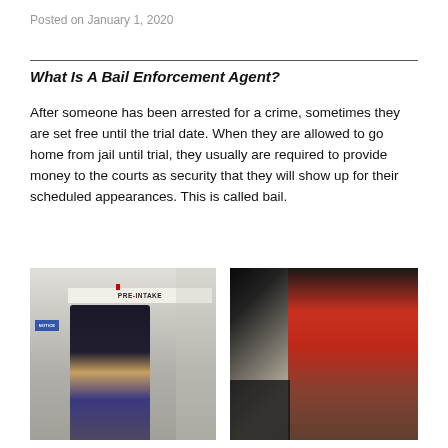Posted on January 1, 2020
What Is A Bail Enforcement Agent?
After someone has been arrested for a crime, sometimes they are set free until the trial date. When they are allowed to go home from jail until trial, they usually are required to provide money to the courts as security that they will show up for their scheduled appearances. This is called bail.
[Figure (photo): Photo of a woman standing in front of a PRE-INTAKE door sign at what appears to be a jail or detention facility]
[Figure (photo): Photo of a man in a red shirt looking sideways, appearing to be in a dimly lit hallway]